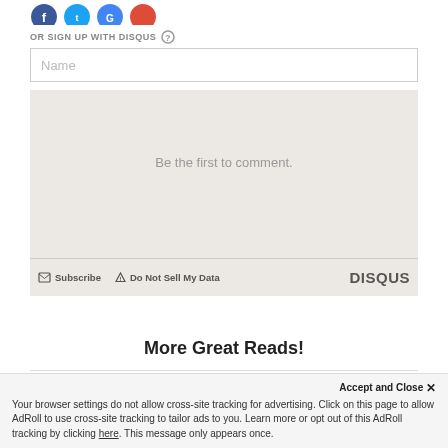[Figure (other): Social media icons (Facebook, Twitter, Google) as colored circles, partially cropped at top]
OR SIGN UP WITH DISQUS ?
[Figure (other): Name text input field with placeholder text 'Name']
Be the first to comment.
Subscribe   Do Not Sell My Data   DISQUS
More Great Reads!
Accept and Close ✕
Your browser settings do not allow cross-site tracking for advertising. Click on this page to allow AdRoll to use cross-site tracking to tailor ads to you. Learn more or opt out of this AdRoll tracking by clicking here. This message only appears once.